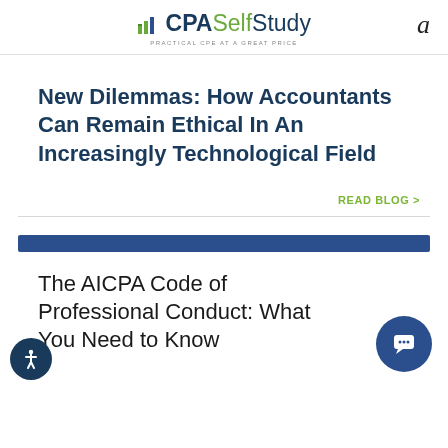CPA SelfStudy
New Dilemmas: How Accountants Can Remain Ethical In An Increasingly Technological Field
READ BLOG >
The AICPA Code of Professional Conduct: What You Need to Know